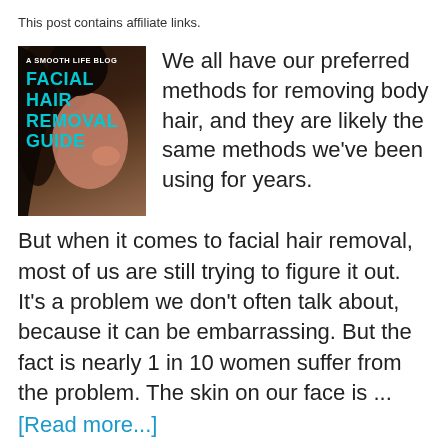This post contains affiliate links.
[Figure (illustration): Book cover for 'A Smooth Life Blog: Facial Hair Removal Guide' with a woman's face on a dark background, with cyan/teal title text]
We all have our preferred methods for removing body hair, and they are likely the same methods we've been using for years.
But when it comes to facial hair removal, most of us are still trying to figure it out. It's a problem we don't often talk about, because it can be embarrassing. But the fact is nearly 1 in 10 women suffer from the problem. The skin on our face is ...
[Read more...]